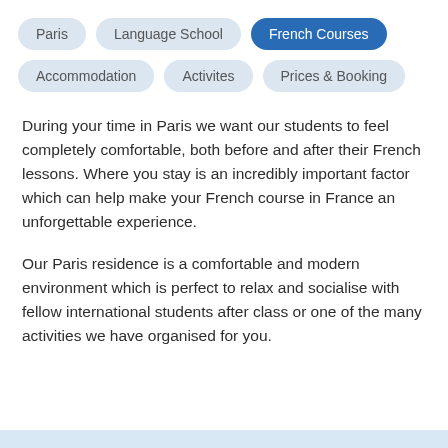Paris
Language School
French Courses
Accommodation
Activites
Prices & Booking
During your time in Paris we want our students to feel completely comfortable, both before and after their French lessons. Where you stay is an incredibly important factor which can help make your French course in France an unforgettable experience.
Our Paris residence is a comfortable and modern environment which is perfect to relax and socialise with fellow international students after class or one of the many activities we have organised for you.